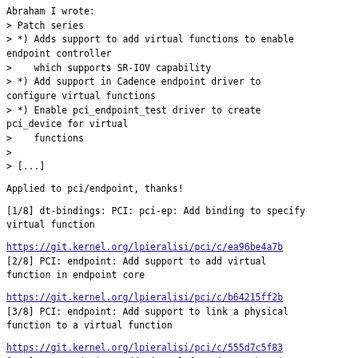Abraham I wrote:
> Patch series
> *) Adds support to add virtual functions to enable endpoint controller
>    which supports SR-IOV capability
> *) Add support in Cadence endpoint driver to configure virtual functions
> *) Enable pci_endpoint_test driver to create pci_device for virtual
>    functions
>
> [...]
Applied to pci/endpoint, thanks!
[1/8] dt-bindings: PCI: pci-ep: Add binding to specify virtual function
https://git.kernel.org/lpieralisi/pci/c/ea96be4a7b
[2/8] PCI: endpoint: Add support to add virtual function in endpoint core
https://git.kernel.org/lpieralisi/pci/c/b64215ff2b
[3/8] PCI: endpoint: Add support to link a physical function to a virtual function
https://git.kernel.org/lpieralisi/pci/c/555d7c5f83
[4/8] PCI: endpoint: Add virtual function number in pci_epc ops
https://git.kernel.org/lpieralisi/pci/c/23a9013ade